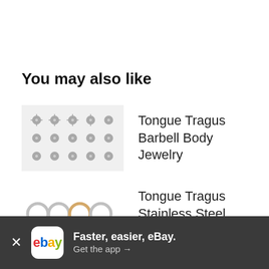You may also like
Tongue Tragus Barbell Body Jewelry
Tongue Tragus Stainless Steel Body Jewelry
Tragus Stainless Steel Barbell Body Jewelry
[Figure (screenshot): eBay app install banner at the bottom: X close button, eBay logo icon, text 'Faster, easier, eBay. Get the app →']